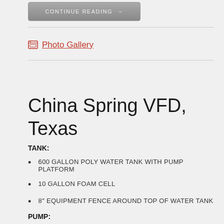CONTINUE READING →
Photo Gallery
China Spring VFD, Texas
TANK:
600 GALLON POLY WATER TANK WITH PUMP PLATFORM
10 GALLON FOAM CELL
8" EQUIPMENT FENCE AROUND TOP OF WATER TANK
PUMP: